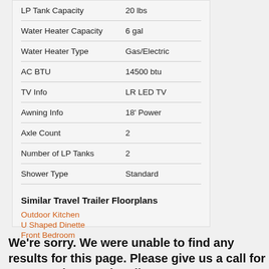| Feature | Value |
| --- | --- |
| LP Tank Capacity | 20 lbs |
| Water Heater Capacity | 6 gal |
| Water Heater Type | Gas/Electric |
| AC BTU | 14500 btu |
| TV Info | LR LED TV |
| Awning Info | 18' Power |
| Axle Count | 2 |
| Number of LP Tanks | 2 |
| Shower Type | Standard |
Similar Travel Trailer Floorplans
Outdoor Kitchen
U Shaped Dinette
Front Bedroom
We're sorry. We were unable to find any results for this page. Please give us a call for an up to date product list or try our